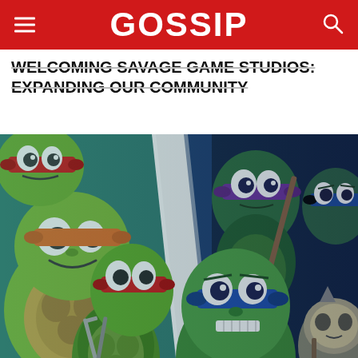GOSSIP
WELCOMING SAVAGE GAME STUDIOS: EXPANDING OUR COMMUNITY
[Figure (illustration): Collage illustration showing Teenage Mutant Ninja Turtles characters from two different art styles (cartoon and realistic) split diagonally by a torn white paper effect. Left panel shows cartoon-style turtles including Michelangelo with orange mask and Raphael with red mask. Right panel shows more realistic/dark art style turtles including Donatello with purple mask and Leonardo with blue mask. Additional characters visible in lower foreground including Raphael holding sai, Leonardo, and what appears to be Shredder in the bottom right corner.]